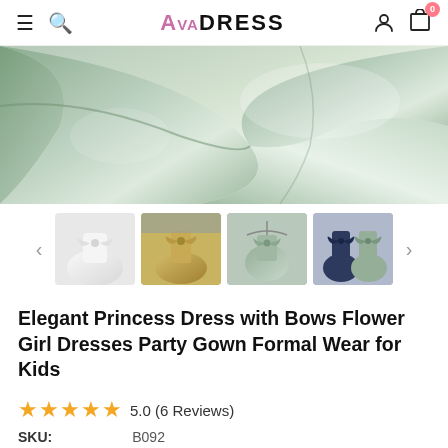AvaDress
[Figure (photo): Main product image showing close-up of sage/mint green satin princess dress with puffed fabric, high-key lighting]
[Figure (photo): Thumbnail 1: White satin princess dress with large bow on front, displayed flat]
[Figure (photo): Thumbnail 2: Gold/champagne satin princess dress with big bow, child wearing it outdoors]
[Figure (photo): Thumbnail 3: Sage green satin princess dress with bow on hanger]
[Figure (photo): Thumbnail 4: Navy blue and sage green princess dresses with bows displayed together]
Elegant Princess Dress with Bows Flower Girl Dresses Party Gown Formal Wear for Kids
5.0 (6 Reviews)
SKU: B092